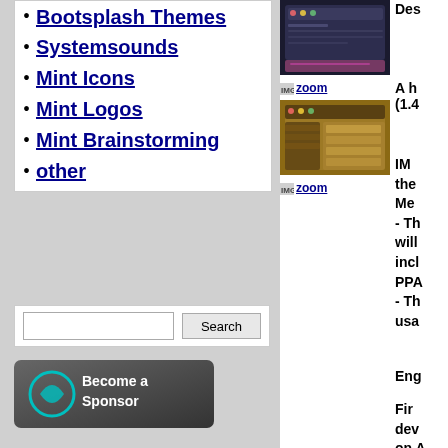Bootsplash Themes
Systemsounds
Mint Icons
Mint Logos
Mint Brainstorming
other
[Figure (screenshot): Screenshot of a dark themed application window with pink/purple background]
[Figure (screenshot): zoom link icon]
[Figure (screenshot): Screenshot of a file manager with wood/brown background]
[Figure (screenshot): zoom link icon]
[Figure (illustration): Become a Sponsor banner with teal logo]
Des
A h (1.4
IM the Me - Th will incl PPA - Th usa
Eng
Fir dev on A